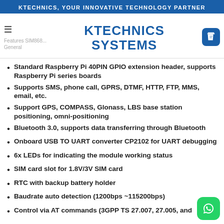KTECHNICS, YOUR INNOVATIVE TECHNOLOGY PARTNER
[Figure (logo): Ktechnics Systems logo with blue bold text]
Standard Raspberry Pi 40PIN GPIO extension header, supports Raspberry Pi series boards
Supports SMS, phone call, GPRS, DTMF, HTTP, FTP, MMS, email, etc.
Support GPS, COMPASS, Glonass, LBS base station positioning, omni-positioning
Bluetooth 3.0, supports data transferring through Bluetooth
Onboard USB TO UART converter CP2102 for UART debugging
6x LEDs for indicating the module working status
SIM card slot for 1.8V/3V SIM card
RTC with backup battery holder
Baudrate auto detection (1200bps ~115200bps)
Control via AT commands (3GPP TS 27.007, 27.005, and
[Figure (logo): WhatsApp green button icon in bottom right]